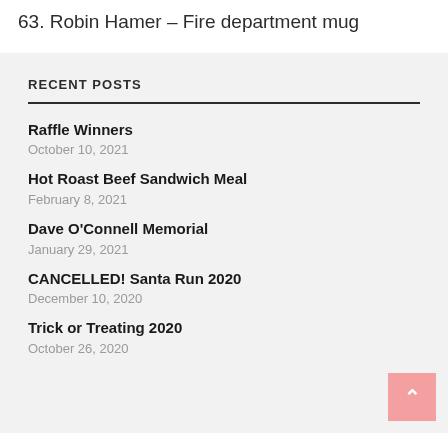63. Robin Hamer – Fire department mug
RECENT POSTS
Raffle Winners
October 10, 2021
Hot Roast Beef Sandwich Meal
February 8, 2021
Dave O'Connell Memorial
January 29, 2021
CANCELLED! Santa Run 2020
December 10, 2020
Trick or Treating 2020
October 26, 2020